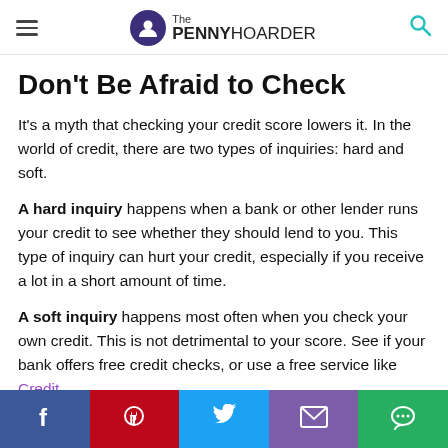The PENNY HOARDER
Don't Be Afraid to Check
It's a myth that checking your credit score lowers it. In the world of credit, there are two types of inquiries: hard and soft.
A hard inquiry happens when a bank or other lender runs your credit to see whether they should lend to you. This type of inquiry can hurt your credit, especially if you receive a lot in a short amount of time.
A soft inquiry happens most often when you check your own credit. This is not detrimental to your score. See if your bank offers free credit checks, or use a free service like Credit